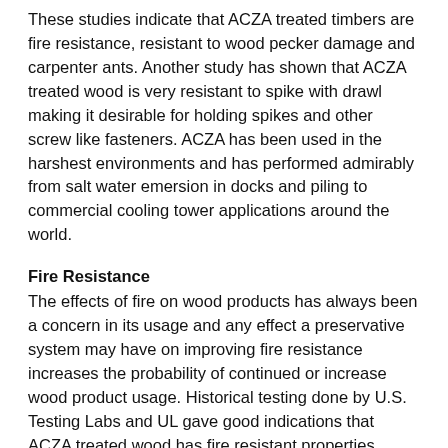These studies indicate that ACZA treated timbers are fire resistance, resistant to wood pecker damage and carpenter ants. Another study has shown that ACZA treated wood is very resistant to spike with drawl making it desirable for holding spikes and other screw like fasteners. ACZA has been used in the harshest environments and has performed admirably from salt water emersion in docks and piling to commercial cooling tower applications around the world.
Fire Resistance
The effects of fire on wood products has always been a concern in its usage and any effect a preservative system may have on improving fire resistance increases the probability of continued or increase wood product usage. Historical testing done by U.S. Testing Labs and UL gave good indications that ACZA treated wood has fire resistant properties. ACZA treated wood is more difficult to ignite than untreated wood and at a rate than of 0.25 of a decreased flame...